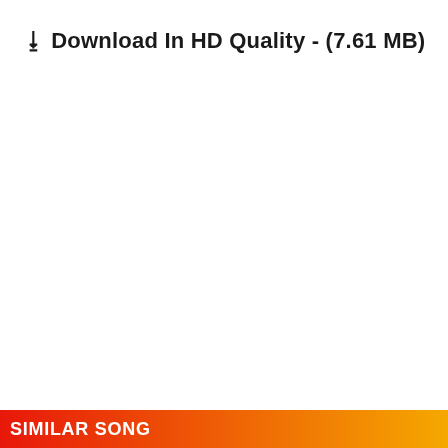⬇ Download In HD Quality - (7.61 MB)
SIMILAR SONG